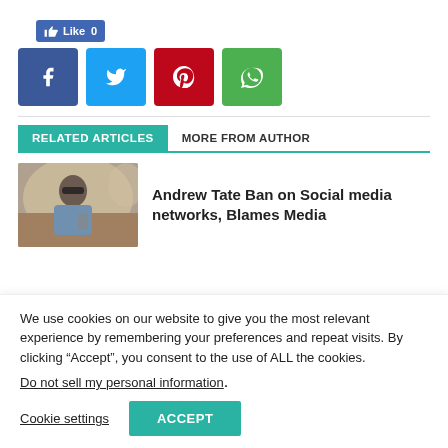[Figure (other): Facebook Like button showing Like 0]
[Figure (other): Social share buttons: Facebook (blue), Twitter (light blue), Pinterest (red), WhatsApp (green)]
RELATED ARTICLES   MORE FROM AUTHOR
[Figure (photo): Man in sunglasses sitting in a private jet using phone]
Andrew Tate Ban on Social media networks, Blames Media
We use cookies on our website to give you the most relevant experience by remembering your preferences and repeat visits. By clicking “Accept”, you consent to the use of ALL the cookies.
Do not sell my personal information.
Cookie settings   ACCEPT